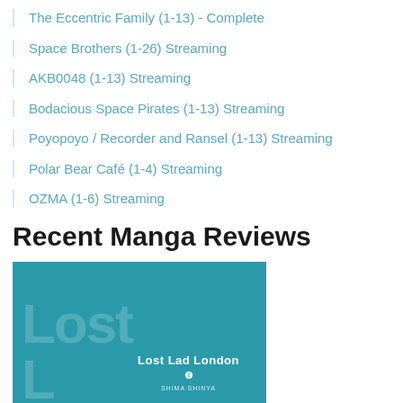The Eccentric Family (1-13) - Complete
Space Brothers (1-26) Streaming
AKB0048 (1-13) Streaming
Bodacious Space Pirates (1-13) Streaming
Poyopoyo / Recorder and Ransel (1-13) Streaming
Polar Bear Café (1-4) Streaming
OZMA (1-6) Streaming
Recent Manga Reviews
[Figure (photo): Book cover of Lost Lad London Volume 1 by Shima Shinya. Teal/turquoise background with large watermark text 'Lost' and title 'Lost Lad London' with volume number 1 and author name Shima Shinya.]